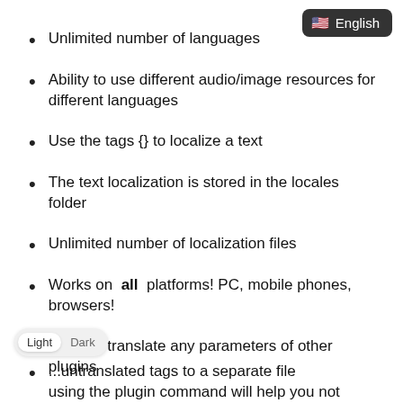[Figure (other): English language selector button with US flag icon, dark background, top-right corner]
Unlimited number of languages
Ability to use different audio/image resources for different languages
Use the tags {} to localize a text
The text localization is stored in the locales folder
Unlimited number of localization files
Works on all platforms! PC, mobile phones, browsers!
You can translate any parameters of other plugins
...untranslated tags to a separate file using the plugin command will help you not
[Figure (other): Light/Dark mode toggle switch, bottom-left corner, Light option selected]